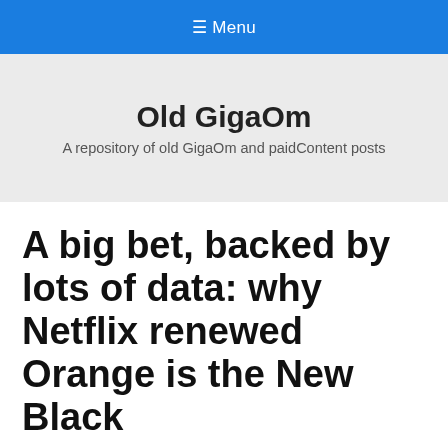≡ Menu
Old GigaOm
A repository of old GigaOm and paidContent posts
A big bet, backed by lots of data: why Netflix renewed Orange is the New Black
on May 5, 2014
Netflix (S NFLX) loves Orange is the New Black so much